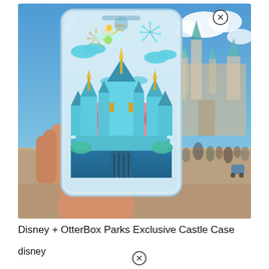[Figure (photo): A hand holding a clear iPhone case featuring a Disney Sleeping Beauty Castle illustration with Tinker Bell, fireworks, teal castle, clouds, and moat. Background shows the real Disneyland castle out of focus with a crowd of park visitors on a sunny day.]
Disney + OtterBox Parks Exclusive Castle Case
disney